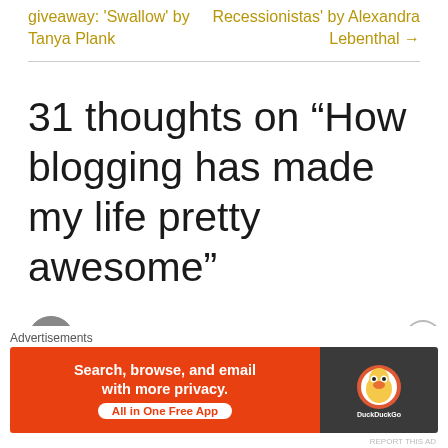giveaway: 'Swallow' by Tanya Plank
Recessionistas' by Alexandra Lebenthal →
31 thoughts on “How blogging has made my life pretty awesome”
[Figure (other): User avatar circle at bottom left]
[Figure (other): Advertisement banner: DuckDuckGo - Search, browse, and email with more privacy. All in One Free App]